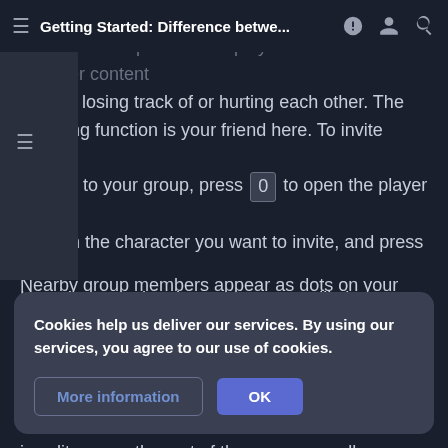Getting Started: Difference betwe...
When playing in a multiplayer server, you may wish to team up with other players in order to conquer content without losing track of or hurting each other. The grouping function is your friend here. To invite other players to your group, press 0 to open the player list, click on the character you want to invite, and press Invite. Hovering over the character names will show you the player's account name.
Nearby group members appear as dots on your map. Group members also cannot damage each other (through conventional means). Experience gained by one member is split among the rest of the group as well.
Cookies help us deliver our services. By using our services, you agree to our use of cookies.